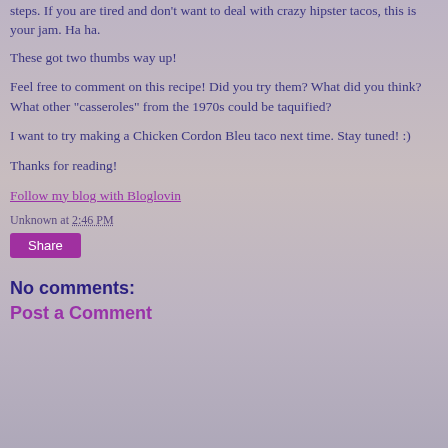steps.  If you are tired and don't want to deal with crazy hipster tacos, this is your jam.  Ha ha.
These got two thumbs way up!
Feel free to comment on this recipe!  Did you try them?  What did you think?  What other "casseroles" from the 1970s could be taquified?
I want to try making a Chicken Cordon Bleu taco next time.  Stay tuned!  :)
Thanks for reading!
Follow my blog with Bloglovin
Unknown at 2:46 PM
Share
No comments:
Post a Comment